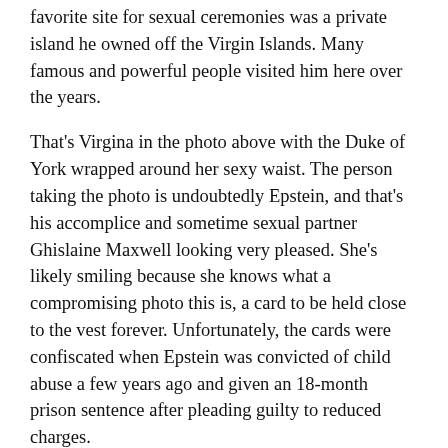favorite site for sexual ceremonies was a private island he owned off the Virgin Islands. Many famous and powerful people visited him here over the years.
That's Virgina in the photo above with the Duke of York wrapped around her sexy waist. The person taking the photo is undoubtedly Epstein, and that's his accomplice and sometime sexual partner Ghislaine Maxwell looking very pleased. She's likely smiling because she knows what a compromising photo this is, a card to be held close to the vest forever. Unfortunately, the cards were confiscated when Epstein was convicted of child abuse a few years ago and given an 18-month prison sentence after pleading guilty to reduced charges.
But did you know Ghislaine is the youngest daughter of Robert Maxwell, who had relations with almost every intelligence agency on earth, although no one knows